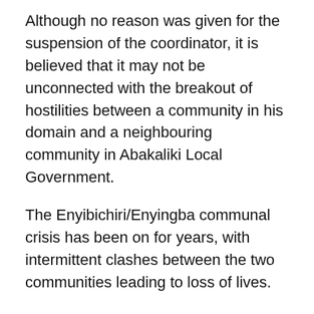Although no reason was given for the suspension of the coordinator, it is believed that it may not be unconnected with the breakout of hostilities between a community in his domain and a neighbouring community in Abakaliki Local Government.
The Enyibichiri/Enyingba communal crisis has been on for years, with intermittent clashes between the two communities leading to loss of lives.
It was gathered that fresh hostilities resumed a few days ago resulting in the blockade of the Nwakpu/Nkwagu road leading to the Alex Ekwueme Federal University, Ndufu Alike Êkwí, by the warring fighters.
A statement yesterday by the institution urged members of the university community to avoid the road while going to school.
The statement signed by the Head of Public Relations The...